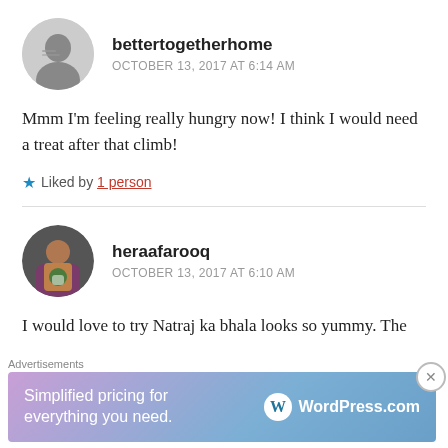[Figure (photo): Circular avatar of user bettertogetherhome — black and white photo of a person sitting]
bettertogetherhome
OCTOBER 13, 2017 AT 6:14 AM
Mmm I'm feeling really hungry now! I think I would need a treat after that climb!
Liked by 1 person
[Figure (photo): Circular avatar of user heraafarooq — color photo of a person holding a drink]
heraafarooq
OCTOBER 13, 2017 AT 6:10 AM
I would love to try Natraj ka bhala looks so yummy. The
Advertisements
Simplified pricing for everything you need.
[Figure (logo): WordPress.com logo — W in circle with WordPress.com text]